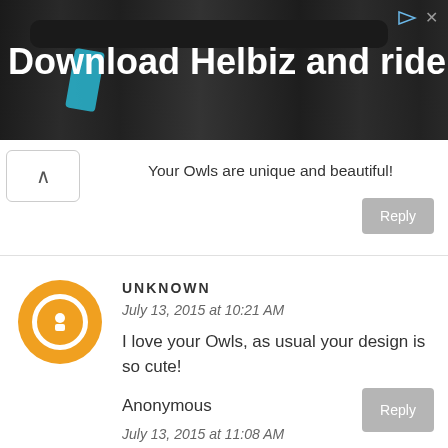[Figure (photo): Advertisement banner showing bicycle handlebars with text 'Download Helbiz and ride' in white on dark background]
Your Owls are unique and beautiful!
Reply
[Figure (logo): Orange circular Blogger avatar icon with white B letter]
UNKNOWN
July 13, 2015 at 10:21 AM
I love your Owls, as usual your design is so cute!
Reply
Anonymous
July 13, 2015 at 11:08 AM